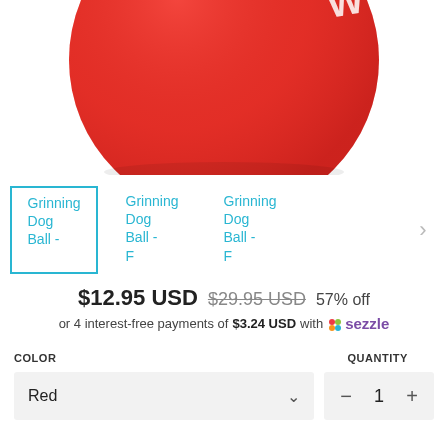[Figure (photo): Red dog toy ball (Grinning Dog Ball) product photo, cropped showing bottom half of ball against white background]
[Figure (screenshot): Three product thumbnail images labeled 'Grinning Dog Ball -' in blue text; first thumbnail is selected with blue border]
$12.95 USD  $29.95 USD  57% off
or 4 interest-free payments of $3.24 USD with Sezzle
COLOR     QUANTITY
Red    1